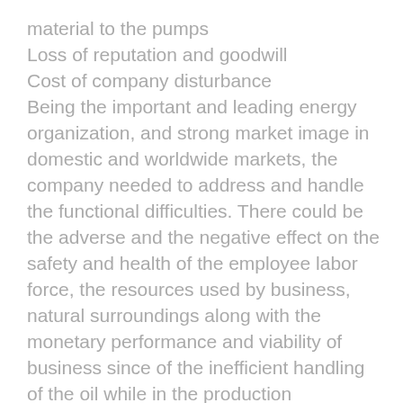material to the pumps
Loss of reputation and goodwill
Cost of company disturbance
Being the important and leading energy organization, and strong market image in domestic and worldwide markets, the company needed to address and handle the functional difficulties. There could be the adverse and the negative effect on the safety and health of the employee labor force, the resources used by business, natural surroundings along with the monetary performance and viability of business since of the inefficient handling of the oil while in the production procedure.
The working condition of the business would have extreme impact on the safety and health of staff members. The exploration of gas and oil is one of